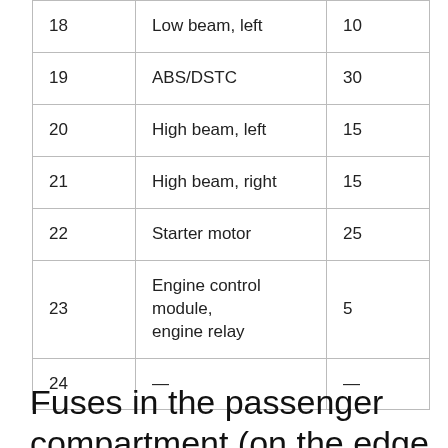| 18 | Low beam, left | 10 |
| 19 | ABS/DSTC | 30 |
| 20 | High beam, left | 15 |
| 21 | High beam, right | 15 |
| 22 | Starter motor | 25 |
| 23 | Engine control module, engine relay | 5 |
| 24 | — | — |
Fuses in the passenger compartment (on the edge of